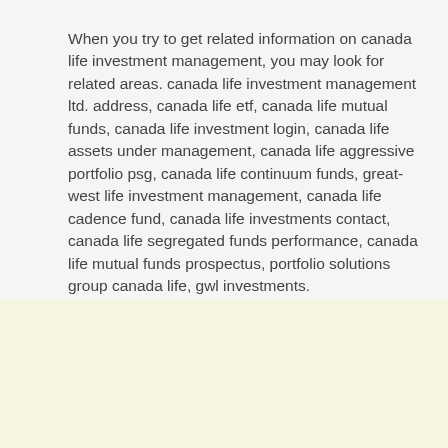When you try to get related information on canada life investment management, you may look for related areas. canada life investment management ltd. address, canada life etf, canada life mutual funds, canada life investment login, canada life assets under management, canada life aggressive portfolio psg, canada life continuum funds, great-west life investment management, canada life cadence fund, canada life investments contact, canada life segregated funds performance, canada life mutual funds prospectus, portfolio solutions group canada life, gwl investments.